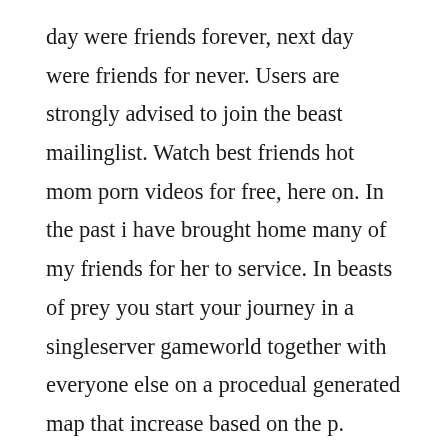day were friends forever, next day were friends for never. Users are strongly advised to join the beast mailinglist. Watch best friends hot mom porn videos for free, here on. In the past i have brought home many of my friends for her to service. In beasts of prey you start your journey in a singleserver gameworld together with everyone else on a procedual generated map that increase based on the p. Download tv series, tv shows, episodes free with subtitles. This time, it seemed like he just came up with the idea off the top of his head and we shared the same elle